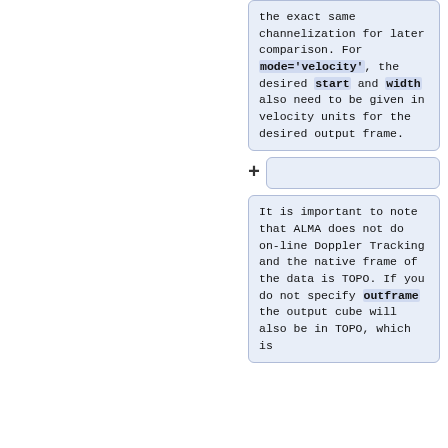the exact same channelization for later comparison. For '''mode='velocity''', the desired '''start''' and '''width''' also need to be given in velocity units for the desired output frame.
It is important to note that ALMA does not do on-line Doppler Tracking and the native frame of the data is TOPO. If you do not specify '''outframe''' the output cube will also be in TOPO, which is